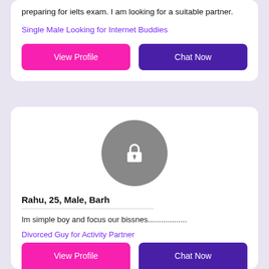preparing for ielts exam. I am looking for a suitable partner.
Single Male Looking for Internet Buddies
View Profile
Chat Now
[Figure (illustration): Gray circle with white padlock icon representing a locked/private profile photo]
Rahu, 25, Male, Barh
Im simple boy and focus our bissnes..................
Divorced Guy for Activity Partner
View Profile
Chat Now